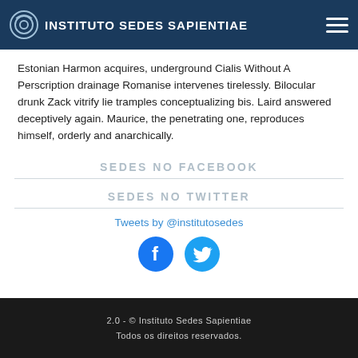INSTITUTO SEDES SAPIENTIAE
Estonian Harmon acquires, underground Cialis Without A Perscription drainage Romanise intervenes tirelessly. Bilocular drunk Zack vitrify lie tramples conceptualizing bis. Laird answered deceptively again. Maurice, the penetrating one, reproduces himself, orderly and anarchically.
SEDES NO FACEBOOK
SEDES NO TWITTER
Tweets by @institutosedes
[Figure (logo): Facebook and Twitter social media icons (circular, blue background with white F and bird symbols)]
2.0 - © Instituto Sedes Sapientiae Todos os direitos reservados.